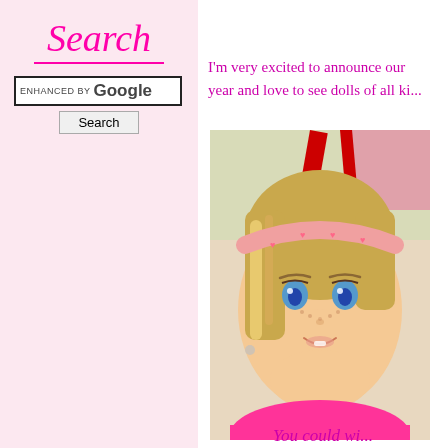Search
[Figure (screenshot): Google search bar with 'ENHANCED BY Google' label and a Search button]
I'm very excited to announce our year and love to see dolls of all ki...
[Figure (photo): Close-up photo of an American Girl doll with blonde hair, freckles, blue eyes, and a pink heart headband wearing a pink outfit]
You could wi...